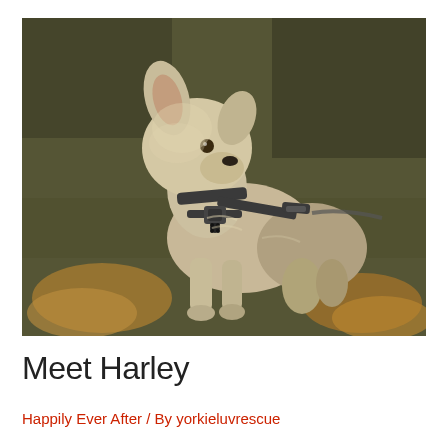[Figure (photo): A small Yorkshire Terrier dog wearing a dark gray harness, standing outdoors on dry grass with patches of golden straw. The dog is looking upward and to the right, with fluffy light tan and gray fur. One ear is perked up. The background shows dry, brown-green grass.]
Meet Harley
Happily Ever After / By yorkieluvrescue